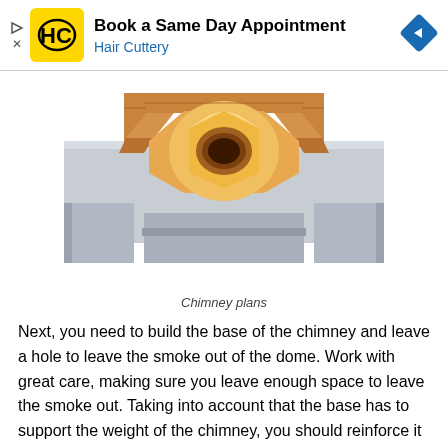[Figure (screenshot): Advertisement banner for Hair Cuttery showing logo, 'Book a Same Day Appointment' text, and navigation icon]
[Figure (engineering-diagram): 3D top-down view of chimney plans showing brick and masonry construction with octagonal flue opening]
Chimney plans
Next, you need to build the base of the chimney and leave a hole to leave the smoke out of the dome. Work with great care, making sure you leave enough space to leave the smoke out. Taking into account that the base has to support the weight of the chimney, you should reinforce it properly.